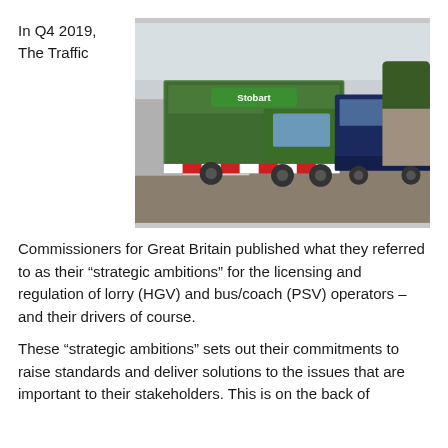In Q4 2019, The Traffic
[Figure (photo): A green Stobart articulated lorry (HGV) parked next to a dark blue coach (PSV) in a vehicle park, with another white lorry visible in the background. Cloudy sky overhead.]
Commissioners for Great Britain published what they referred to as their “strategic ambitions” for the licensing and regulation of lorry (HGV) and bus/coach (PSV) operators – and their drivers of course.
These “strategic ambitions” sets out their commitments to raise standards and deliver solutions to the issues that are important to their stakeholders. This is on the back of